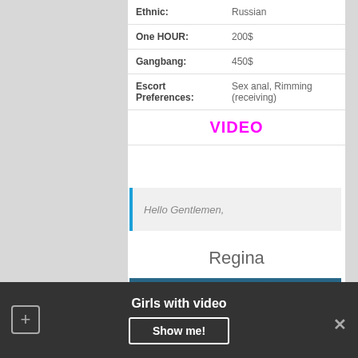| Field | Value |
| --- | --- |
| Ethnic: | Russian |
| One HOUR: | 200$ |
| Gangbang: | 450$ |
| Escort Preferences: | Sex anal, Rimming (receiving) |
VIDEO
Hello Gentlemen,
Regina
Girls with video
Show me!